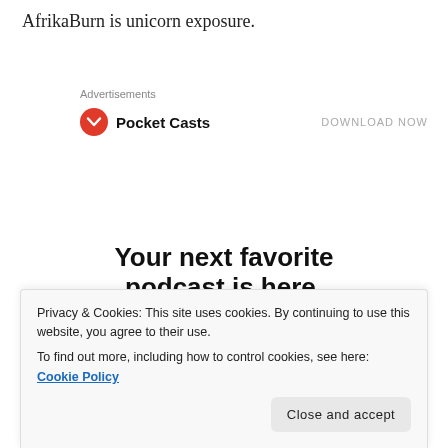AfrikaBurn is unicorn exposure.
Advertisements
[Figure (logo): Pocket Casts logo with brand name and DOWNLOAD NOW link]
[Figure (screenshot): Pocket Casts advertisement showing 'Your next favorite podcast is here.' with phone screenshots showing Up Next queue]
Privacy & Cookies: This site uses cookies. By continuing to use this website, you agree to their use.
To find out more, including how to control cookies, see here: Cookie Policy
Close and accept